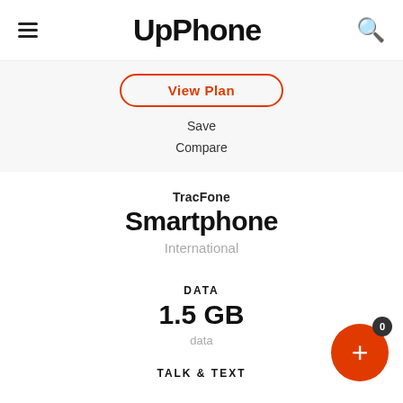UpPhone
View Plan
Save
Compare
TracFone Smartphone
International
DATA
1.5 GB
data
TALK & TEXT